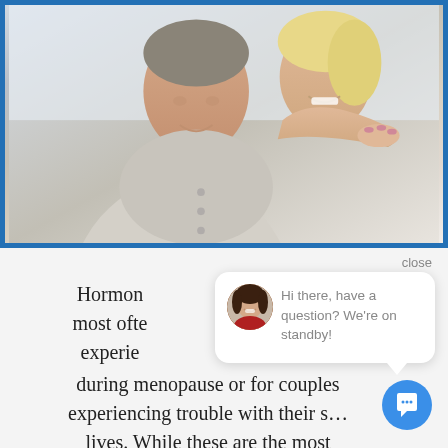[Figure (photo): Photo of a smiling middle-aged couple embracing, woman with blonde hair hugging man from behind, both wearing light-colored shirts, framed with a blue border]
close
[Figure (screenshot): Chat bubble popup with avatar of a woman with dark hair, message reads: Hi there, have a question? We're on standby!]
Hormone... most often... experiencing... during menopause or for couples experiencing trouble with their s... lives. While these are the most common uses, there are a variety of